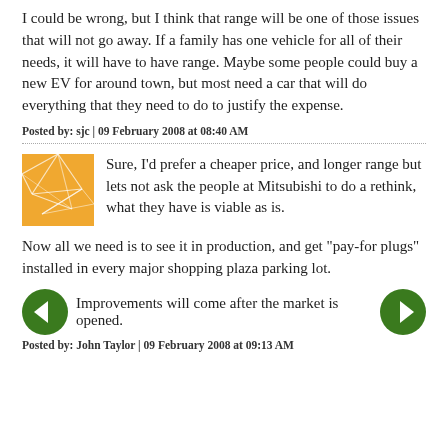I could be wrong, but I think that range will be one of those issues that will not go away. If a family has one vehicle for all of their needs, it will have to have range. Maybe some people could buy a new EV for around town, but most need a car that will do everything that they need to do to justify the expense.
Posted by: sjc | 09 February 2008 at 08:40 AM
Sure, I'd prefer a cheaper price, and longer range but lets not ask the people at Mitsubishi to do a rethink, what they have is viable as is.

Now all we need is to see it in production, and get "pay-for plugs" installed in every major shopping plaza parking lot.

Improvements will come after the market is opened.
Posted by: John Taylor | 09 February 2008 at 09:13 AM